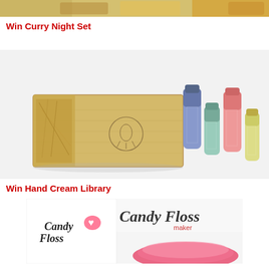[Figure (photo): Top portion of a food/curry image cropped at the top of the page]
Win Curry Night Set
[Figure (photo): Hand cream library gift set — a wooden box branded Candleflower with four colorful hand cream tubes (blue, mint green, pink, yellow) displayed beside it on a white background]
Win Hand Cream Library
[Figure (photo): Bottom portion of a Candy Floss maker product image, showing script 'Candy Floss' text on packaging and a pink cotton candy machine bowl]